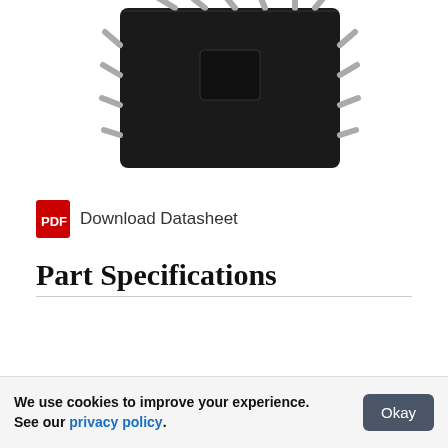[Figure (photo): Close-up photo of a black SOIC integrated circuit chip (74AHCT123) with metal leads/pins on both sides, on a white background.]
Download Datasheet
Part Specifications
| Property | Value |
| --- | --- |
| Logic Family / Base Number | 74AHCT123 |
| Multivibrator Type | Retriggerable Monostable |
| Output Current | 25mA |
We use cookies to improve your experience. See our privacy policy.